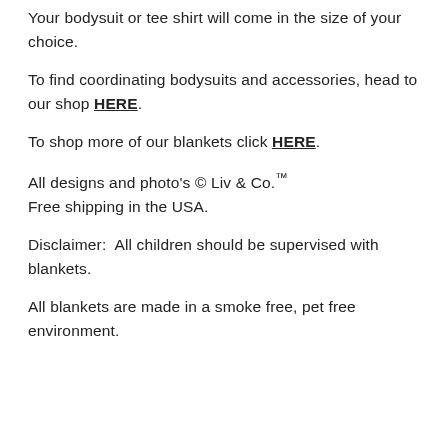Your bodysuit or tee shirt will come in the size of your choice.
To find coordinating bodysuits and accessories, head to our shop HERE.
To shop more of our blankets click HERE.
All designs and photo's © Liv & Co.™
Free shipping in the USA.
Disclaimer:  All children should be supervised with blankets.
All blankets are made in a smoke free, pet free environment.